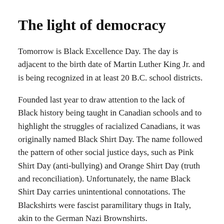The light of democracy
Tomorrow is Black Excellence Day. The day is adjacent to the birth date of Martin Luther King Jr. and is being recognized in at least 20 B.C. school districts.
Founded last year to draw attention to the lack of Black history being taught in Canadian schools and to highlight the struggles of racialized Canadians, it was originally named Black Shirt Day. The name followed the pattern of other social justice days, such as Pink Shirt Day (anti-bullying) and Orange Shirt Day (truth and reconciliation). Unfortunately, the name Black Shirt Day carries unintentional connotations. The Blackshirts were fascist paramilitary thugs in Italy, akin to the German Nazi Brownshirts.